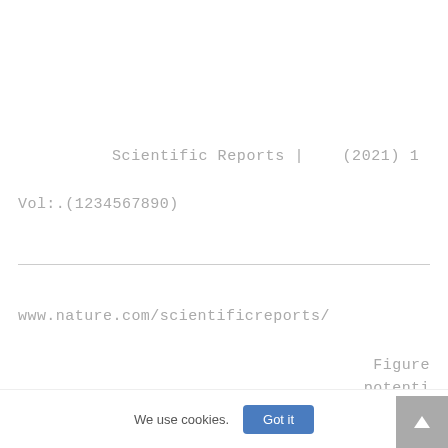Scientific Reports |    (2021) 1
Vol:.(1234567890)
www.nature.com/scientificreports/
Figure
potenti
We use cookies.